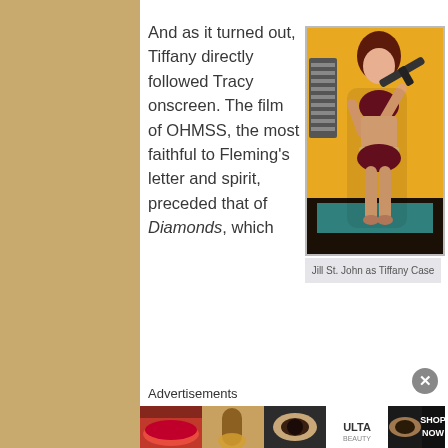And as it turned out, Tiffany directly followed Tracy onscreen. The film of OHMSS, the most faithful to Fleming's letter and spirit, preceded that of Diamonds, which
[Figure (photo): Jill St. John as Tiffany Case, posing with a machine gun, wearing a bikini top and bottom, standing in front of a yellow background]
Jill St. John as Tiffany Case
Advertisements
[Figure (photo): ULTA Beauty advertisement banner showing makeup images and SHOP NOW text]